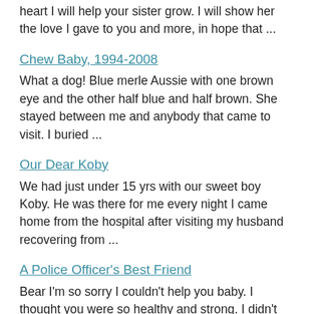As to my first baby, I hope you know, that with all my heart I will help your sister grow. I will show her the love I gave to you and more, in hope that ...
Chew Baby, 1994-2008
What a dog! Blue merle Aussie with one brown eye and the other half blue and half brown. She stayed between me and anybody that came to visit. I buried ...
Our Dear Koby
We had just under 15 yrs with our sweet boy Koby. He was there for me every night I came home from the hospital after visiting my husband recovering from ...
A Police Officer's Best Friend
Bear I'm so sorry I couldn't help you baby. I thought you were so healthy and strong. I didn't know within 24 hours I would no longer hear your song. Your ...